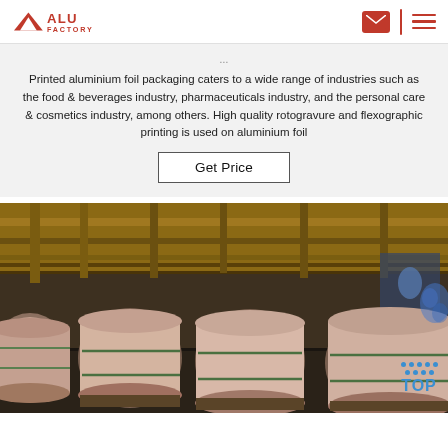ALU FACTORY
Printed aluminium foil packaging caters to a wide range of industries such as the food & beverages industry, pharmaceuticals industry, and the personal care & cosmetics industry, among others. High quality rotogravure and flexographic printing is used on aluminium foil
Get Price
[Figure (photo): Warehouse interior showing large rolls of aluminium foil wrapped in brown/pink paper, stacked on pallets under a steel beam ceiling with yellow overhead cranes. A blue 'TOP' badge with dots is visible in the lower right.]